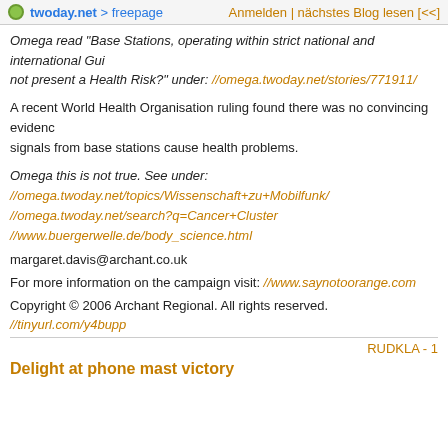twoday.net > freepage   Anmelden | nächstes Blog lesen [<<]
Omega read "Base Stations, operating within strict national and international Gui... not present a Health Risk?" under: //omega.twoday.net/stories/771911/
A recent World Health Organisation ruling found there was no convincing evidence signals from base stations cause health problems.
Omega this is not true. See under: //omega.twoday.net/topics/Wissenschaft+zu+Mobilfunk/ //omega.twoday.net/search?q=Cancer+Cluster //www.buergerwelle.de/body_science.html
margaret.davis@archant.co.uk
For more information on the campaign visit: //www.saynotoorange.com
Copyright © 2006 Archant Regional. All rights reserved.
//tinyurl.com/y4bupp
RUDKLA - 1
Delight at phone mast victory